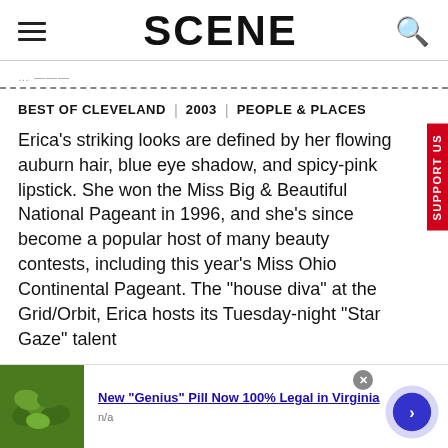SCENE
BEST OF CLEVELAND | 2003 | PEOPLE & PLACES
Erica's striking looks are defined by her flowing auburn hair, blue eye shadow, and spicy-pink lipstick. She won the Miss Big & Beautiful National Pageant in 1996, and she's since become a popular host of many beauty contests, including this year's Miss Ohio Continental Pageant. The "house diva" at the Grid/Orbit, Erica hosts its Tuesday-night "Star Gaze" talent
[Figure (screenshot): Advertisement banner: green beans image on left, text 'New "Genius" Pill Now 100% Legal in Virginia' in blue, 'n/a' below, close button, and blue circular navigation arrow button on right]